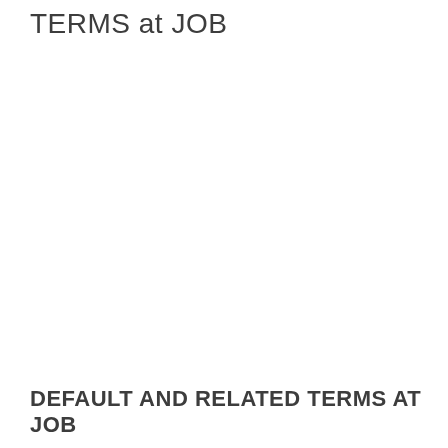TERMS at JOB
DEFAULT AND RELATED TERMS at JOB